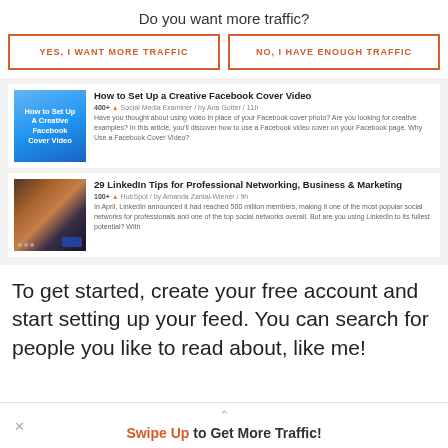Do you want more traffic?
YES, I WANT MORE TRAFFIC
NO, I HAVE ENOUGH TRAFFIC
[Figure (screenshot): Card showing article: How to Set Up a Creative Facebook Cover Video. 400+ shares. Social Media Examiner / by Ana Gotter / 11h. Preview text about using video in place of Facebook cover photo.]
[Figure (screenshot): Card showing article: 29 LinkedIn Tips for Professional Networking, Business & Marketing. 100+ shares. HubSpot / by Amanda Zantal-Wiener / 9h. Preview text about LinkedIn reaching 500 million members.]
To get started, create your free account and start setting up your feed. You can search for people you like to read about, like me!
Swipe Up to Get More Traffic!